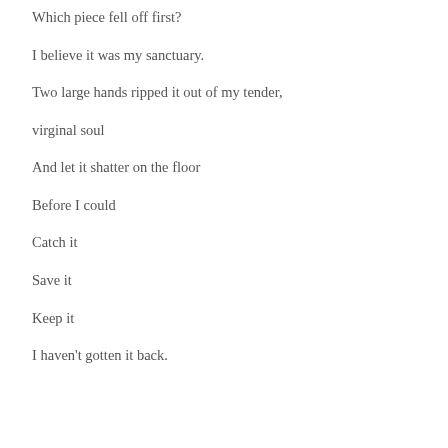Which piece fell off first?
I believe it was my sanctuary.
Two large hands ripped it out of my tender,
virginal soul
And let it shatter on the floor
Before I could
Catch it
Save it
Keep it
I haven't gotten it back.